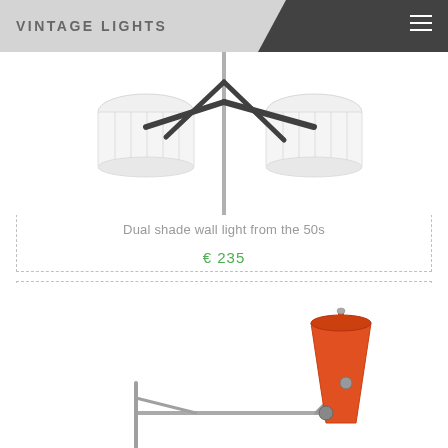VINTAGE LIGHTS
[Figure (photo): Dual shade wall light product photo showing two white ribbed lamp shades with black bracket arms and a central metal rod against white background]
Dual shade wall light from the 50s
€ 235
[Figure (photo): Vintage desk or wall lamp with orange cone-shaped shade and metal arm, partially visible at bottom of page]